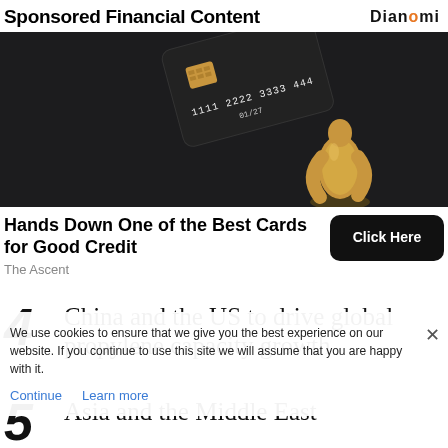Sponsored Financial Content
[Figure (photo): Dark background with a black credit card showing numbers 1111 2222 3333 444 and 01/27, with a gold abstract sculpture figure beside it]
Hands Down One of the Best Cards for Good Credit
The Ascent
Click Here
4 China and the US to drive global propylene capacity growth
We use cookies to ensure that we give you the best experience on our website. If you continue to use this site we will assume that you are happy with it.
5 Asia and the Middle East